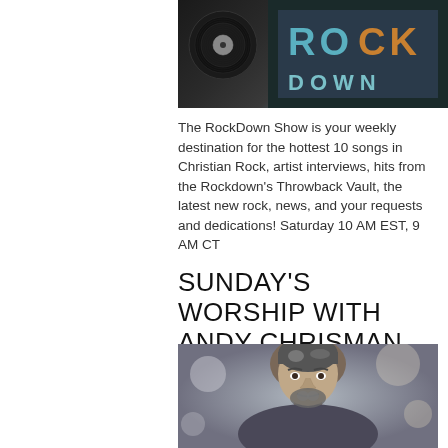[Figure (photo): Photo of vinyl record and colorful album cover with teal and orange lettering on dark background]
The RockDown Show is your weekly destination for the hottest 10 songs in Christian Rock, artist interviews, hits from the Rockdown's Throwback Vault, the latest new rock, news, and your requests and dedications! Saturday 10 AM EST, 9 AM CT
SUNDAY'S WORSHIP WITH ANDY CHRISMAN
[Figure (photo): Portrait photo of Andy Chrisman, a middle-aged man with dark grey hair and beard, with bokeh background]